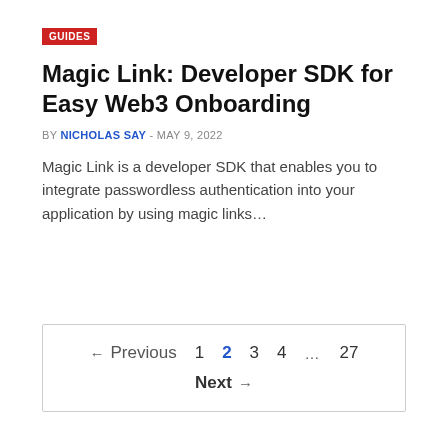GUIDES
Magic Link: Developer SDK for Easy Web3 Onboarding
BY NICHOLAS SAY - MAY 9, 2022
Magic Link is a developer SDK that enables you to integrate passwordless authentication into your application by using magic links…
← Previous  1  2  3  4  …  27
Next →